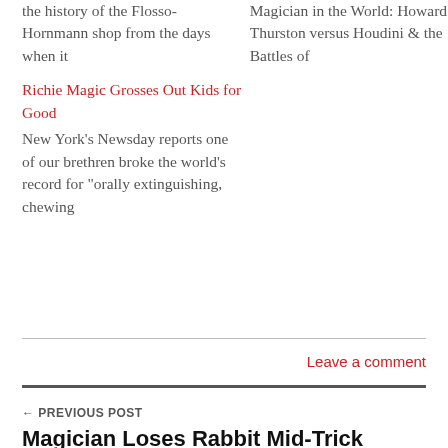the history of the Flosso-Hornmann shop from the days when it
Magician in the World: Howard Thurston versus Houdini & the Battles of
Richie Magic Grosses Out Kids for Good
New York's Newsday reports one of our brethren broke the world's record for "orally extinguishing, chewing
Leave a comment
← PREVIOUS POST
Magician Loses Rabbit Mid-Trick